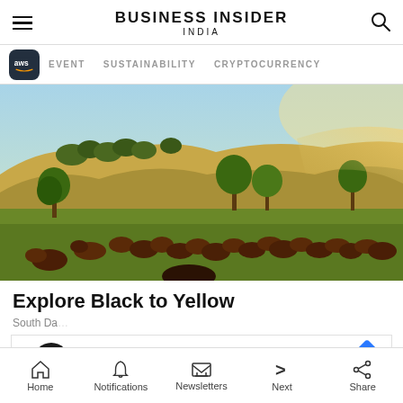BUSINESS INSIDER INDIA
EVENT   SUSTAINABILITY   CRYPTOCURRENCY
[Figure (photo): Herd of bison grazing on rolling golden grassland hills with green trees under a sunny sky]
Explore Black to Yellow
South Da...
Save Up to 65% Leesburg Premium Outlets
Home   Notifications   Newsletters   Next   Share